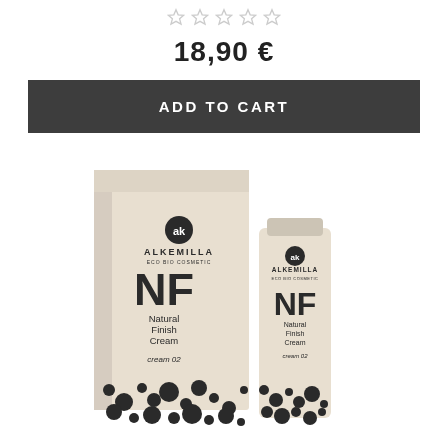[Figure (other): Five empty star rating icons arranged horizontally]
18,90 €
ADD TO CART
[Figure (photo): Alkemilla NF Natural Finish Cream product box and tube on white background with polka dot pattern at bottom]